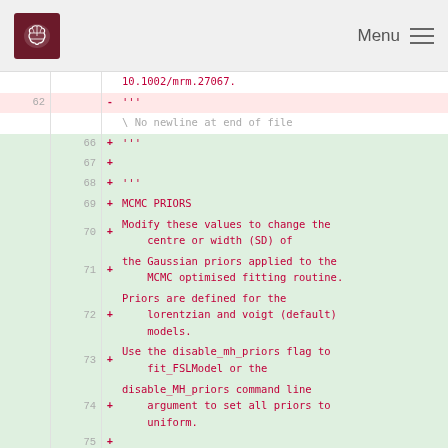Menu
| old | new | sign | code |
| --- | --- | --- | --- |
|  |  |  | 10.1002/mrm.27067. |
| 62 |  | - | ''' |
|  |  |  | \ No newline at end of file |
|  | 66 | + | ''' |
|  | 67 | + |  |
|  | 68 | + | ''' |
|  | 69 | + | MCMC PRIORS |
|  | 70 | + | Modify these values to change the centre or width (SD) of |
|  | 71 | + | the Gaussian priors applied to the MCMC optimised fitting routine. |
|  | 72 | + | Priors are defined for the lorentzian and voigt (default) models. |
|  | 73 | + | Use the disable_mh_priors flag to fit_FSLModel or the |
|  | 74 | + | disable_MH_priors command line argument to set all priors to uniform. |
|  | 75 | + |  |